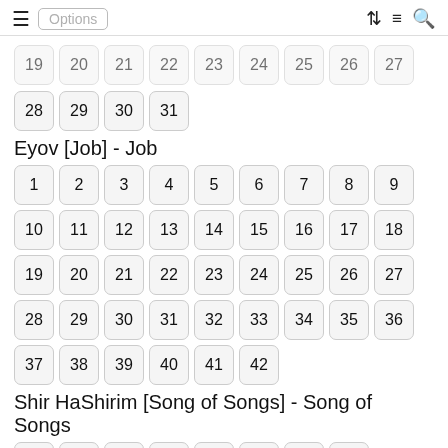Options
28 29 30 31 (continued from previous book)
Eyov [Job] - Job
1 2 3 4 5 6 7 8 9 10 11 12 13 14 15 16 17 18 19 20 21 22 23 24 25 26 27 28 29 30 31 32 33 34 35 36 37 38 39 40 41 42
Shir HaShirim [Song of Songs] - Song of Songs
1 2 3 4 5 6 7 8